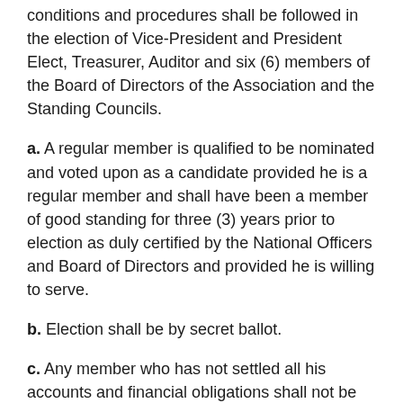conditions and procedures shall be followed in the election of Vice-President and President Elect, Treasurer, Auditor and six (6) members of the Board of Directors of the Association and the Standing Councils.
a. A regular member is qualified to be nominated and voted upon as a candidate provided he is a regular member and shall have been a member of good standing for three (3) years prior to election as duly certified by the National Officers and Board of Directors and provided he is willing to serve.
b. Election shall be by secret ballot.
c. Any member who has not settled all his accounts and financial obligations shall not be qualified to vote or be nominated to any position.
d. A majority of the total number of registered regular member delegates during an Annual Convention who are of